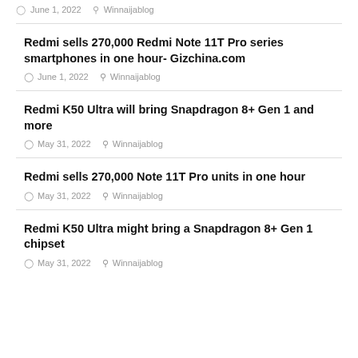June 1, 2022   Winnaijablog
Redmi sells 270,000 Redmi Note 11T Pro series smartphones in one hour- Gizchina.com
June 1, 2022   Winnaijablog
Redmi K50 Ultra will bring Snapdragon 8+ Gen 1 and more
May 31, 2022   Winnaijablog
Redmi sells 270,000 Note 11T Pro units in one hour
May 31, 2022   Winnaijablog
Redmi K50 Ultra might bring a Snapdragon 8+ Gen 1 chipset
May 31, 2022   Winnaijablog